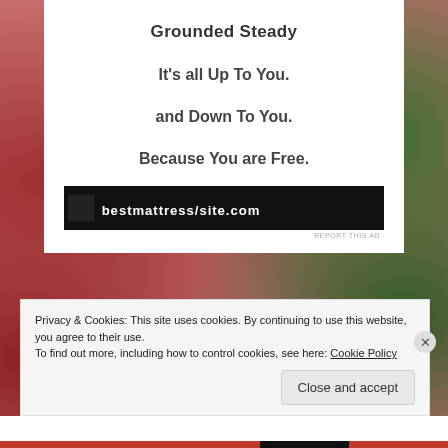Grounded Steady
It's all Up To You.
and Down To You.
Because You are Free.
[Figure (other): Black advertisement banner with partially obscured text]
REPORT THIS AD
Privacy & Cookies: This site uses cookies. By continuing to use this website, you agree to their use.
To find out more, including how to control cookies, see here: Cookie Policy
Close and accept